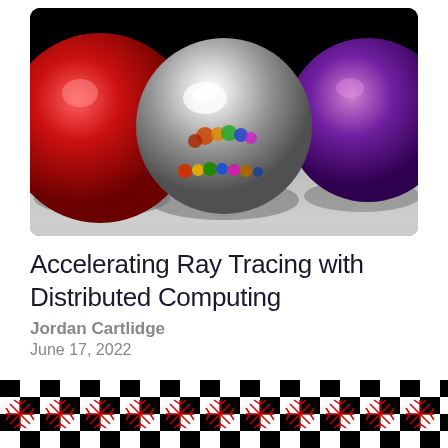[Figure (photo): Ray-traced 3D render showing several reflective spheres on a gray floor against a black background. A large silver/chrome sphere is centered, with a large red sphere to the left and a large purple sphere to the right. Multiple smaller colorful spheres are reflected in the chrome sphere. Shadows are cast on the gray ground plane.]
Accelerating Ray Tracing with Distributed Computing
Jordan Cartlidge
June 17, 2022
[Figure (illustration): Decorative footer strip showing a repeating pattern of black and white checkerboard squares overlaid with red geometric star/arrow shapes arranged in a horizontal band.]